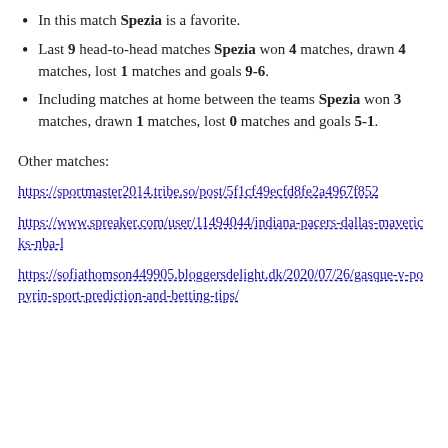In this match Spezia is a favorite.
Last 9 head-to-head matches Spezia won 4 matches, drawn 4 matches, lost 1 matches and goals 9-6.
Including matches at home between the teams Spezia won 3 matches, drawn 1 matches, lost 0 matches and goals 5-1.
Other matches:
https://sportmaster2014.tribe.so/post/5f1cf49ecfd8fe2a4967f852
https://www.spreaker.com/user/11494044/indiana-pacers-dallas-mavericks-nba-l
https://sofiathomson449905.bloggersdelight.dk/2020/07/26/gasque-v-popyrin-sport-prediction-and-betting-tips/